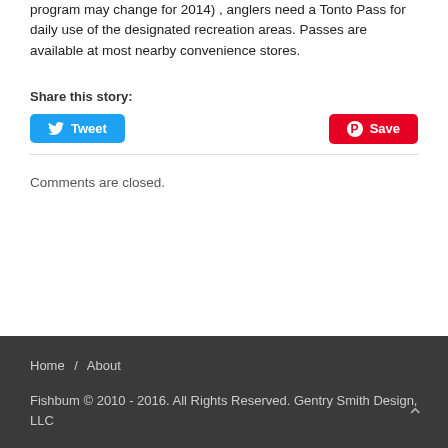program may change for 2014) , anglers need a Tonto Pass for daily use of the designated recreation areas. Passes are available at most nearby convenience stores.
Share this story:
Tweet
Save
Comments are closed.
Home / About
Fishbum © 2010 - 2016. All Rights Reserved. Gentry Smith Design, LLC